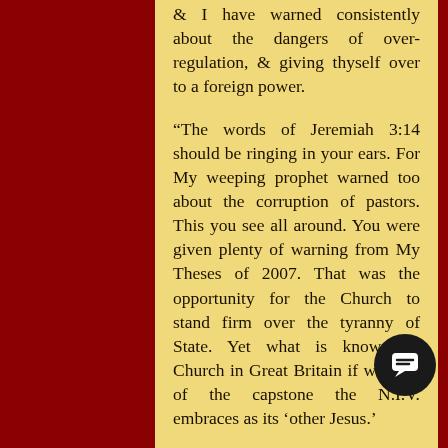& I have warned consistently about the dangers of over-regulation, & giving thyself over to a foreign power.
“The words of Jeremiah 3:14 should be ringing in your ears. For My weeping prophet warned too about the corruption of pastors. This you see all around. You were given plenty of warning from My Theses of 2007. That was the opportunity for the Church to stand firm over the tyranny of State. Yet what is known as Church in Great Britain if worship of the capstone the N.I.V. embraces as its ‘other Jesus.’
“What a mess thy nation is in! What is known as Church wallowing in the occult; what is known as government wallowing in greed & self-righteousness.
“The present state is standing firm in its judgement of the child abuse of previous generations. Yet, more children are being scooped out of wombs that ever before.